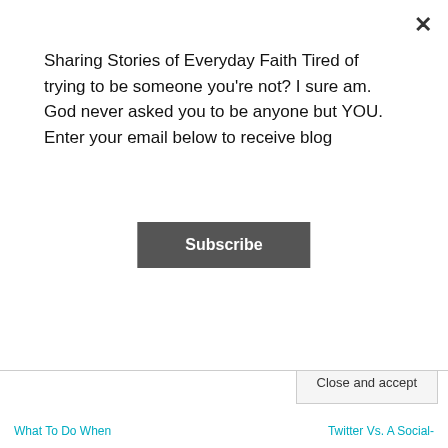Sharing Stories of Everyday Faith Tired of trying to be someone you're not? I sure am. God never asked you to be anyone but YOU. Enter your email below to receive blog
Subscribe
SHARING IS CARING :)
[Figure (infographic): Social sharing icons: Twitter (blue), Facebook (blue), Pinterest (red with badge '3'), WhatsApp (green), Print (gray)]
RELATED
Privacy & Cookies: This site uses cookies. By continuing to use this website, you agree to their use.
To find out more, including how to control cookies, see here: Cookie Policy
Close and accept
What To Do When
Twitter Vs. A Social-